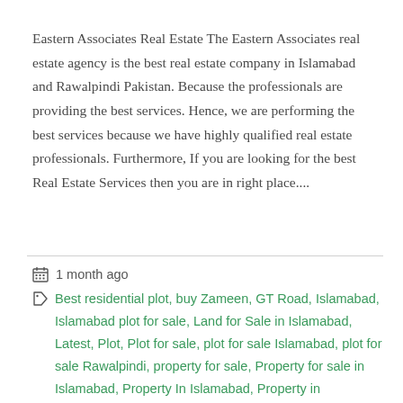Eastern Associates Real Estate The Eastern Associates real estate agency is the best real estate company in Islamabad and Rawalpindi Pakistan. Because the professionals are providing the best services. Hence, we are performing the best services because we have highly qualified real estate professionals. Furthermore, If you are looking for the best Real Estate Services then you are in right place....
1 month ago
Best residential plot, buy Zameen, GT Road, Islamabad, Islamabad plot for sale, Land for Sale in Islamabad, Latest, Plot, Plot for sale, plot for sale Islamabad, plot for sale Rawalpindi, property for sale, Property for sale in Islamabad, Property In Islamabad, Property in Rawalpindi, Rawalpindi, Rawalpindi plot for sale, Rawat valley, Real Estate, Residential, residential area, Residential plots,